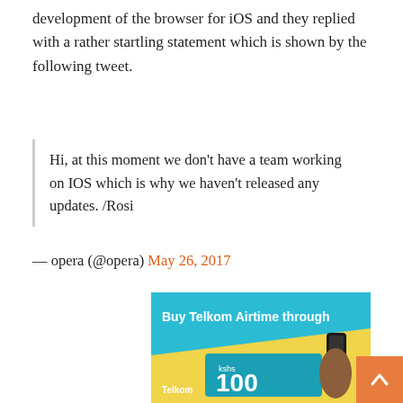development of the browser for iOS and they replied with a rather startling statement which is shown by the following tweet.
Hi, at this moment we don't have a team working on IOS which is why we haven't released any updates. /Rosi
— opera (@opera) May 26, 2017
[Figure (photo): Advertisement banner: Buy Telkom Airtime through - showing a hand holding a phone with a yellow arrow pointing to 'kshs 100' and the Telkom logo]
[Figure (other): Back to top button - orange square with white upward arrow]